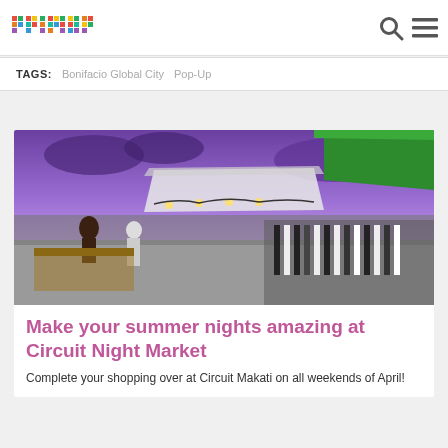primer
TAGS:  Bonifacio Global City  Pop-Up
[Figure (photo): Night market scene with clothing stalls under tents, purple and blue twilight sky, shoppers browsing merchandise on hangers]
Make your summer nights amazing at Circuit Night Market
Complete your shopping over at Circuit Makati on all weekends of April!